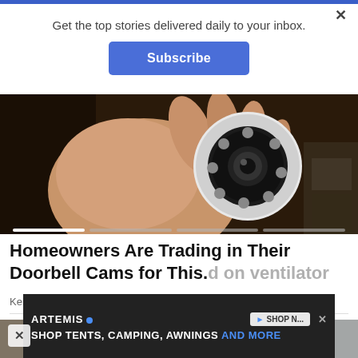Get the top stories delivered daily to your inbox.
Subscribe
[Figure (photo): A hand holding a small round security camera with IR LEDs, close-up shot]
Homeowners Are Trading in Their Doorbell Cams for This.
Keillini | Sponsored
[Figure (photo): Dirty electrical outlets/sockets on a grimy wall]
ARTEMIS  SHOP NOW  X  SHOP TENTS, CAMPING, AWNINGS AND MORE